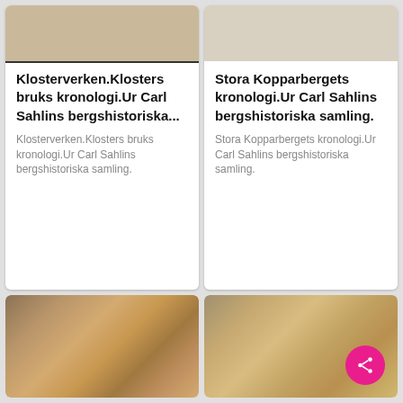[Figure (photo): Blurred beige/tan book cover image, top of left card]
Klosterverken.Klosters bruks kronologi.Ur Carl Sahlins bergshistoriska...
Klosterverken.Klosters bruks kronologi.Ur Carl Sahlins bergshistoriska samling.
[Figure (photo): Blurred light colored book or document image, top of right card]
Stora Kopparbergets kronologi.Ur Carl Sahlins bergshistoriska samling.
Stora Kopparbergets kronologi.Ur Carl Sahlins bergshistoriska samling.
[Figure (photo): Blurred open book with text, bottom left]
[Figure (photo): Blurred book spine/pages, bottom right, with pink share button overlay]